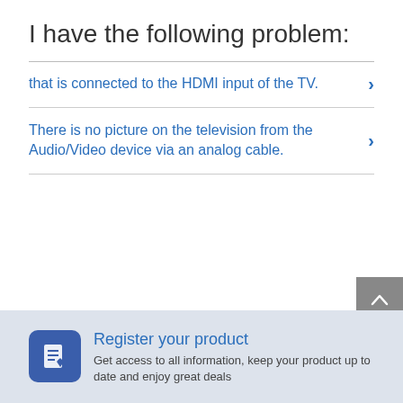I have the following problem:
that is connected to the HDMI input of the TV.
There is no picture on the television from the Audio/Video device via an analog cable.
Register your product
Get access to all information, keep your product up to date and enjoy great deals